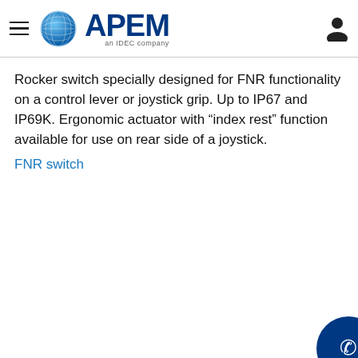APEM — an IDEC company
Rocker switch specially designed for FNR functionality on a control lever or joystick grip. Up to IP67 and IP69K. Ergonomic actuator with “index rest” function available for use on rear side of a joystick.
FNR switch